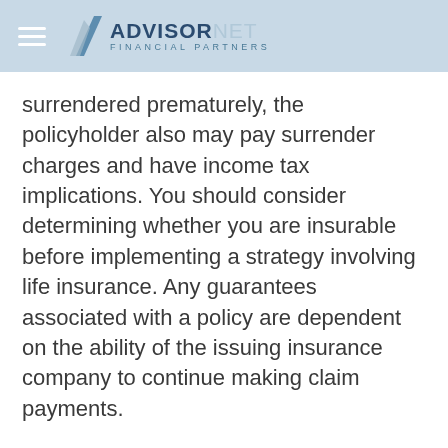ADVISOR NET FINANCIAL PARTNERS
surrendered prematurely, the policyholder also may pay surrender charges and have income tax implications. You should consider determining whether you are insurable before implementing a strategy involving life insurance. Any guarantees associated with a policy are dependent on the ability of the issuing insurance company to continue making claim payments.
The content is developed from sources believed to be providing accurate information. The information in this